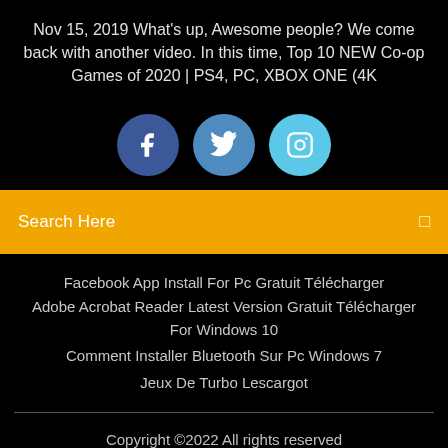Nov 15, 2019 What's up, Awesome people? We come back with another video. In this time, Top 10 NEW Co-op Games of 2020 | PS4, PC, XBOX ONE (4K
[Figure (infographic): Three social media icon circles: Facebook (dark blue), Twitter (medium blue), Instagram (light blue)]
Search Here
Facebook App Install For Pc Gratuit Télécharger
Adobe Acrobat Reader Latest Version Gratuit Télécharger For Windows 10
Comment Installer Bluetooth Sur Pc Windows 7
Jeux De Turbo Lescargot
Copyright ©2022 All rights reserved